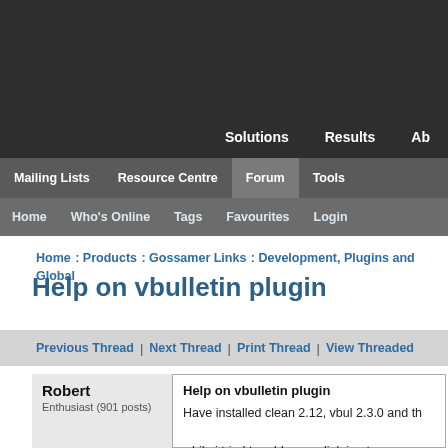Solutions | Results | Ab
Mailing Lists | Resource Centre | Forum | Tools
Home | Who's Online | Tags | Favourites | Login
Home : Products : Gossamer Links : Development, Plugins and Global
Help on vbulletin plugin
Previous Thread | Next Thread | Print Thread | View Threaded
Robert
Enthusiast (901 posts)
Help on vbulletin plugin

Have installed clean 2.12, vbul 2.3.0 and th

while i tried to add a new link i got: